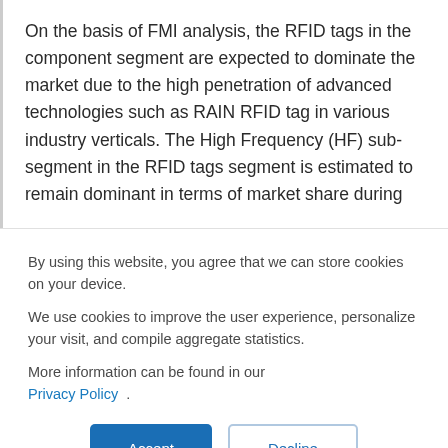On the basis of FMI analysis, the RFID tags in the component segment are expected to dominate the market due to the high penetration of advanced technologies such as RAIN RFID tag in various industry verticals. The High Frequency (HF) sub-segment in the RFID tags segment is estimated to remain dominant in terms of market share during
By using this website, you agree that we can store cookies on your device.
We use cookies to improve the user experience, personalize your visit, and compile aggregate statistics.
More information can be found in our Privacy Policy .